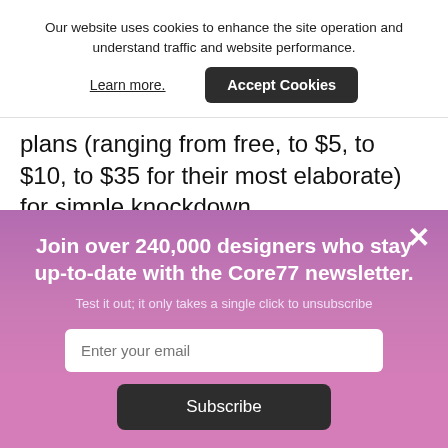Our website uses cookies to enhance the site operation and understand traffic and website performance.
Learn more.
Accept Cookies
plans (ranging from free, to $5, to $10, to $35 for their most elaborate) for simple knockdown
×
Join over 240,000 designers who stay up-to-date with the Core77 newsletter.
Test it out; it only takes a single click to unsubscribe
Enter your email
Subscribe